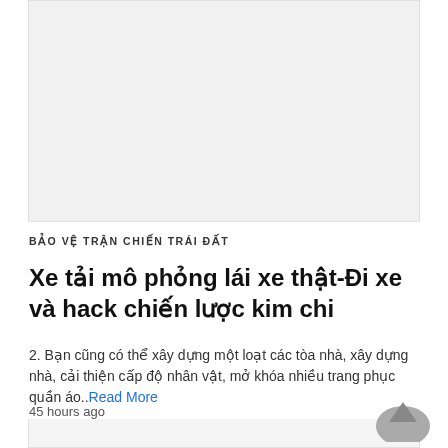[Figure (other): Light gray image placeholder rectangle at the top of the page]
BẢO VỆ TRẬN CHIẾN TRÁI ĐẤT
Xe tải mô phỏng lái xe thật-Đi xe và hack chiến lược kim chi
2. Bạn cũng có thể xây dựng một loạt các tòa nhà, xây dựng nhà, cải thiện cấp độ nhân vật, mở khóa nhiều trang phục quần áo..Read More
45 hours ago